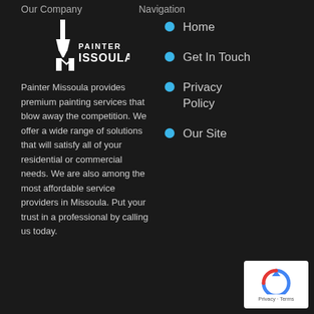Our Company
Navigation
[Figure (logo): Painter Missoula logo with paint brush icon and text]
Painter Missoula provides premium painting services that blow away the competition. We offer a wide range of solutions that will satisfy all of your residential or commercial needs. We are also among the most affordable service providers in Missoula. Put your trust in a professional by calling us today.
Home
Get In Touch
Privacy Policy
Our Site